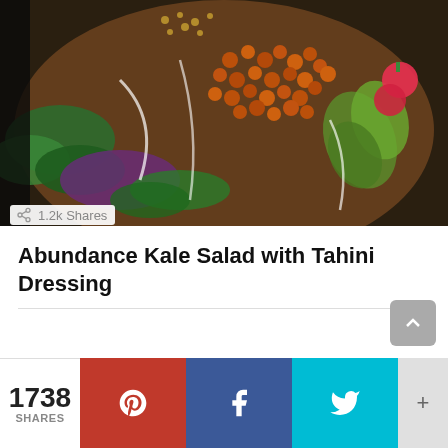[Figure (photo): Overhead photo of a kale salad bowl with roasted chickpeas, avocado slices, radishes, greens, and tahini dressing drizzled on top]
1.2k Shares
Abundance Kale Salad with Tahini Dressing
1738 SHARES
[Figure (infographic): Social share buttons bar: Pinterest (red), Facebook (blue), Twitter (cyan), and a plus/more button (gray)]